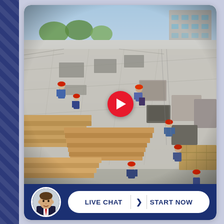[Figure (photo): Aerial/elevated view of a construction site with workers in red hard hats on a concrete slab floor, surrounded by lumber, formwork, and building materials. A tall building under construction is visible in the background. A red video play button is overlaid at the center-bottom of the image.]
LIVE CHAT  >  START NOW